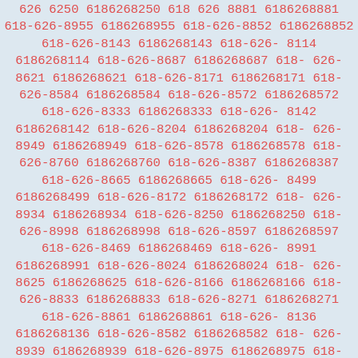626 6250 6186268250 618 626 8881 6186268881 618-626-8955 6186268955 618-626-8852 6186268852 618-626-8143 6186268143 618-626-8114 6186268114 618-626-8687 6186268687 618-626-8621 6186268621 618-626-8171 6186268171 618-626-8584 6186268584 618-626-8572 6186268572 618-626-8333 6186268333 618-626-8142 6186268142 618-626-8204 6186268204 618-626-8949 6186268949 618-626-8578 6186268578 618-626-8760 6186268760 618-626-8387 6186268387 618-626-8665 6186268665 618-626-8499 6186268499 618-626-8172 6186268172 618-626-8934 6186268934 618-626-8250 6186268250 618-626-8998 6186268998 618-626-8597 6186268597 618-626-8469 6186268469 618-626-8991 6186268991 618-626-8024 6186268024 618-626-8625 6186268625 618-626-8166 6186268166 618-626-8833 6186268833 618-626-8271 6186268271 618-626-8861 6186268861 618-626-8136 6186268136 618-626-8582 6186268582 618-626-8939 6186268939 618-626-8975 6186268975 618-626-8363 6186268363 618-626-8873 6186268873 618-626-8922 6186268922 618-626-8663 6186268663 618-626-8147 6186268147 618-626-8993 6186268993 618-626-8087 6186268087 618-626-8411 6186268411 618-626-8108